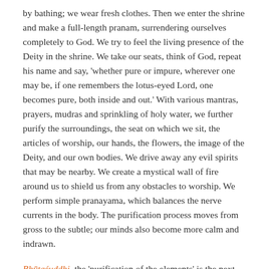by bathing; we wear fresh clothes. Then we enter the shrine and make a full-length pranam, surrendering ourselves completely to God. We try to feel the living presence of the Deity in the shrine. We take our seats, think of God, repeat his name and say, 'whether pure or impure, wherever one may be, if one remembers the lotus-eyed Lord, one becomes pure, both inside and out.' With various mantras, prayers, mudras and sprinkling of holy water, we further purify the surroundings, the seat on which we sit, the articles of worship, our hands, the flowers, the image of the Deity, and our own bodies. We drive away any evil spirits that may be nearby. We create a mystical wall of fire around us to shield us from any obstacles to worship. We perform simple pranayama, which balances the nerve currents in the body. The purification process moves from gross to the subtle; our minds also become more calm and indrawn.
Bhūtaśuddhi, the 'purification of the elements' is the next crucial step. Through bhūtaśuddhi, we strive to realize the identity of the jīvātman (individual soul) with the paramātman (supreme Soul). We sit in the meditation